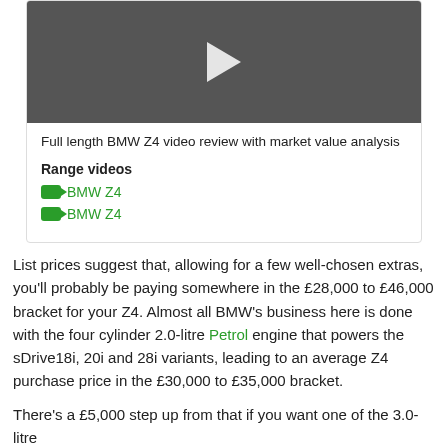[Figure (screenshot): Video thumbnail of a red BMW Z4 roadster driving on a road with a play button overlay]
Full length BMW Z4 video review with market value analysis
Range videos
BMW Z4
BMW Z4
List prices suggest that, allowing for a few well-chosen extras, you'll probably be paying somewhere in the £28,000 to £46,000 bracket for your Z4. Almost all BMW's business here is done with the four cylinder 2.0-litre Petrol engine that powers the sDrive18i, 20i and 28i variants, leading to an average Z4 purchase price in the £30,000 to £35,000 bracket.
There's a £5,000 step up from that if you want one of the 3.0-litre